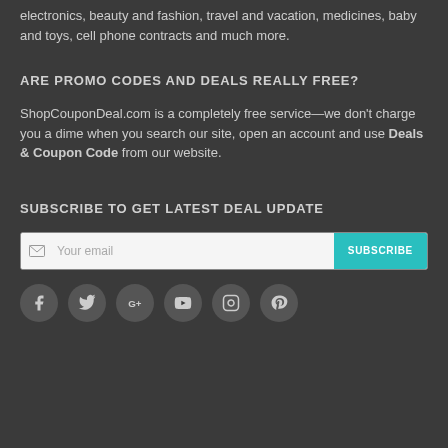electronics, beauty and fashion, travel and vacation, medicines, baby and toys, cell phone contracts and much more.
ARE PROMO CODES AND DEALS REALLY FREE?
ShopCouponDeal.com is a completely free service—we don't charge you a dime when you search our site, open an account and use Deals & Coupon Code from our website.
SUBSCRIBE TO GET LATEST DEAL UPDATE
[Figure (other): Email subscription form with 'Your email' input and 'SUBSCRIBE' button]
[Figure (other): Social media icons row: Facebook, Twitter, Google+, YouTube, Instagram, Pinterest]